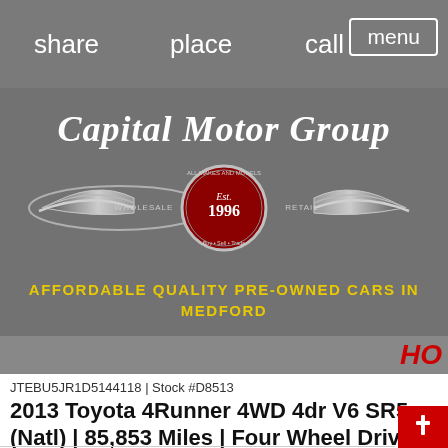share   place   call   menu
[Figure (logo): Capital Motor Group logo with wings, Est. 1996, Wholesale and Retail. Text below: AFFORDABLE QUALITY PRE-OWNED CARS IN MEDFORD]
HO
JTEBU5JR1D5144118 | Stock #D8513
2013 Toyota 4Runner 4WD 4dr V6 SR5 (Natl) | 85,853 Miles | Four Wheel Drive
Gray Exterior  |  4 V6 Cylinder Engine  | Automatic Trans